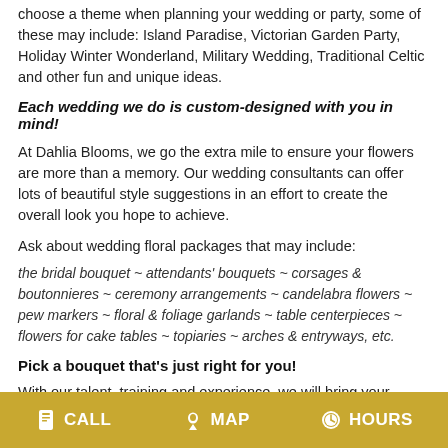choose a theme when planning your wedding or party, some of these may include: Island Paradise, Victorian Garden Party, Holiday Winter Wonderland, Military Wedding, Traditional Celtic and other fun and unique ideas.
Each wedding we do is custom-designed with you in mind!
At Dahlia Blooms, we go the extra mile to ensure your flowers are more than a memory. Our wedding consultants can offer lots of beautiful style suggestions in an effort to create the overall look you hope to achieve.
Ask about wedding floral packages that may include:
the bridal bouquet ~ attendants' bouquets ~ corsages & boutonnieres ~ ceremony arrangements ~ candelabra flowers ~ pew markers ~ floral & foliage garlands ~ table centerpieces ~ flowers for cake tables ~ topiaries ~ arches & entryways, etc.
Pick a bouquet that's just right for you!
With our talent, training and experience, we will bring your special day to life... with classic traditional bouquets, or more modern
CALL   MAP   HOURS